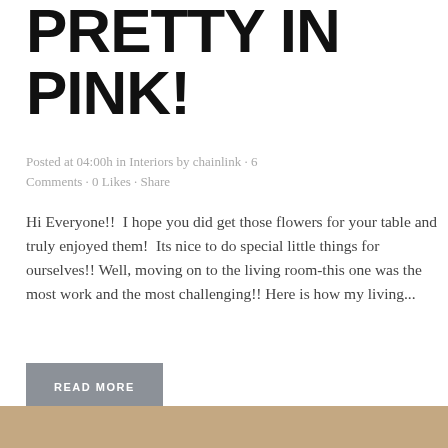PRETTY IN PINK!
Posted at 04:00h in Interiors by chainlink · 6 Comments · 0 Likes · Share
Hi Everyone!!  I hope you did get those flowers for your table and truly enjoyed them!  Its nice to do special little things for ourselves!! Well, moving on to the living room-this one was the most work and the most challenging!! Here is how my living...
READ MORE
[Figure (photo): Bottom strip showing a brown/tan colored image, partially visible at the bottom of the page.]